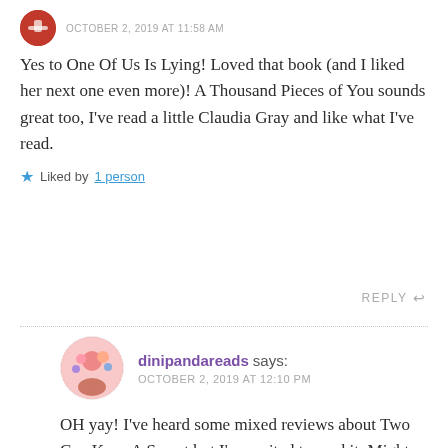[Figure (illustration): Small circular avatar icon with reddish/brown coloring, partially visible at top left]
OCTOBER 2, 2019 AT 11:58 AM
Yes to One Of Us Is Lying! Loved that book (and I liked her next one even more)! A Thousand Pieces of You sounds great too, I've read a little Claudia Gray and like what I've read.
★ Liked by 1 person
REPLY
dinipandareads says:
OCTOBER 2, 2019 AT 12:10 PM
[Figure (illustration): Circular avatar with pink/colorful illustration of a person with flowers]
OH yay! I've heard some mixed reviews about Two Can Keep A Secret but I'm excited to read it. Might even bump it up to October since its perfect timing! I don't know what else Claudia Gray writes